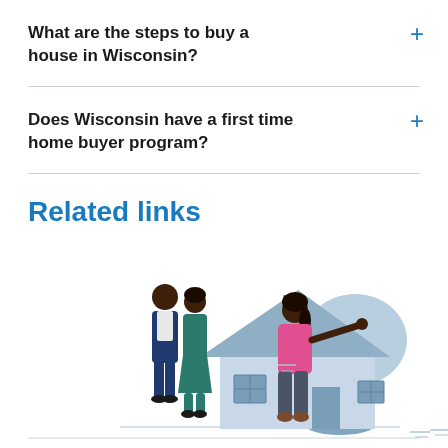What are the steps to buy a house in Wisconsin?
Does Wisconsin have a first time home buyer program?
Related links
[Figure (illustration): Illustration of a couple standing next to a real estate agent gesturing toward a house with a tree in the background.]